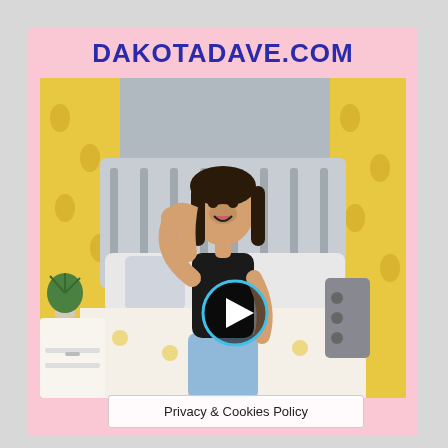DAKOTADAVE.COM
[Figure (photo): A smiling young woman with dark hair wearing a black crop top and ripped light blue jeans, waving her hand. She is standing in front of a bedroom with yellow floral curtains, a white bed frame, and yellow and white bedding. A play button icon is overlaid on the image in the center.]
Privacy & Cookies Policy